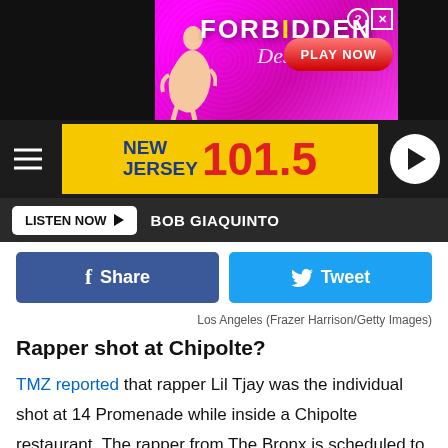[Figure (illustration): Advertisement banner for 'Forbidden Desire' game with pink/purple background, silhouette of woman, large text 'FORBIDDEN Desire' and red 'PLAY NOW' button]
[Figure (logo): New Jersey 101.5 radio station logo on yellow background with blue/red text, hamburger menu icon on left, play button circle on right]
[Figure (screenshot): Listen Now button with play arrow and 'BOB GIAQUINTO' text on dark bar]
[Figure (screenshot): Facebook Share and Twitter Tweet social buttons]
Los Angeles (Frazer Harrison/Getty Images)
Rapper shot at Chipolte?
TMZ reported that rapper Lil Tjay was the individual shot at 14 Promenade while inside a Chipolte restaurant. The rapper from The Bronx is scheduled to begin a tour in The Netherlands on Saturday, according to his website.
[Figure (illustration): Bottom advertisement banner for 'Forbidden Desire' game, same style as top banner, partially visible]